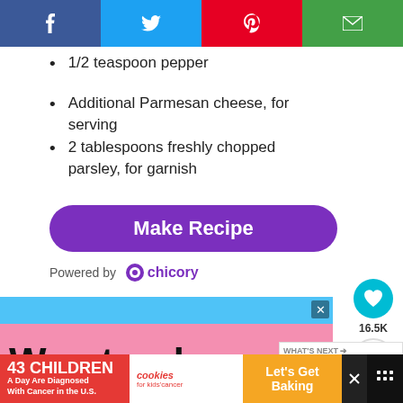[Figure (screenshot): Social sharing bar with Facebook (blue), Twitter (cyan), Pinterest (red), Email (green) buttons]
1/2 teaspoon pepper
Additional Parmesan cheese, for serving
2 tablespoons freshly chopped parsley, for garnish
[Figure (screenshot): Purple Make Recipe button]
Powered by chicory
[Figure (infographic): Advertisement: We stand with... colorful blocks]
[Figure (screenshot): What's Next: Italian Sausage Bo... with food image]
[Figure (infographic): Bottom ad banner: 43 CHILDREN A Day Are Diagnosed With Cancer in the U.S. / cookies for kids cancer / Let's Get Baking]